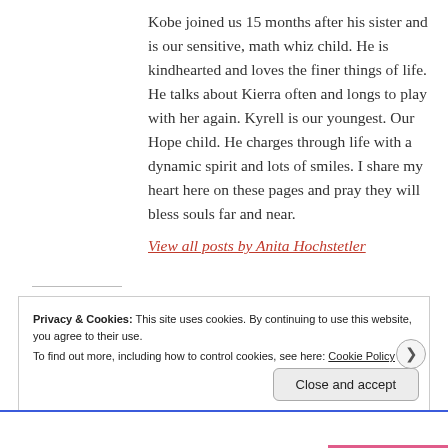Kobe joined us 15 months after his sister and is our sensitive, math whiz child. He is kindhearted and loves the finer things of life. He talks about Kierra often and longs to play with her again. Kyrell is our youngest. Our Hope child. He charges through life with a dynamic spirit and lots of smiles. I share my heart here on these pages and pray they will bless souls far and near.
View all posts by Anita Hochstetler
Privacy & Cookies: This site uses cookies. By continuing to use this website, you agree to their use.
To find out more, including how to control cookies, see here: Cookie Policy
Close and accept